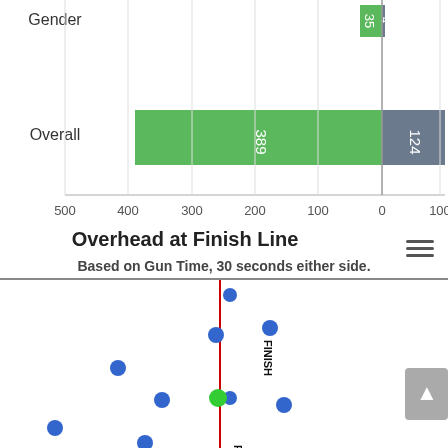[Figure (bar-chart): Gender/Overall horizontal bar chart]
Overhead at Finish Line
Based on Gun Time, 30 seconds either side.
[Figure (scatter-plot): Overhead view at finish line showing scattered blue dots and one green dot with a red vertical FINISH line]